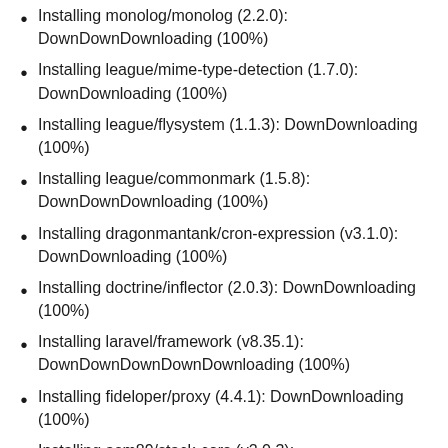Installing monolog/monolog (2.2.0): DownDownDownloading (100%)
Installing league/mime-type-detection (1.7.0): DownDownloading (100%)
Installing league/flysystem (1.1.3): DownDownloading (100%)
Installing league/commonmark (1.5.8): DownDownDownloading (100%)
Installing dragonmantank/cron-expression (v3.1.0): DownDownloading (100%)
Installing doctrine/inflector (2.0.3): DownDownloading (100%)
Installing laravel/framework (v8.35.1): DownDownDownDownDownloading (100%)
Installing fideloper/proxy (4.4.1): DownDownloading (100%)
Installing asm89/stack-cors (v2.0.3): DownDownloading (100%)
Installing fruitcake/laravel-cors (v2.0.3):